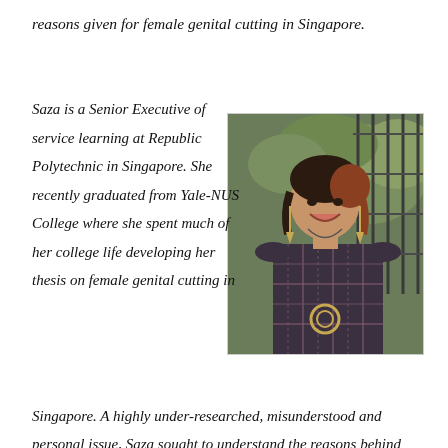reasons given for female genital cutting in Singapore.
[Figure (photo): Portrait photo of a young woman smiling, wearing a dark plaid dress with ruffled sleeves and a circular belt buckle, long earrings and a necklace, standing in front of a metal fence with green foliage in the background.]
Saza is a Senior Executive of service learning at Republic Polytechnic in Singapore. She recently graduated from Yale-NUS College where she spent much of her college life developing her thesis on female genital cutting in Singapore. A highly under-researched, misunderstood and personal issue, Saza sought to understand the reasons behind